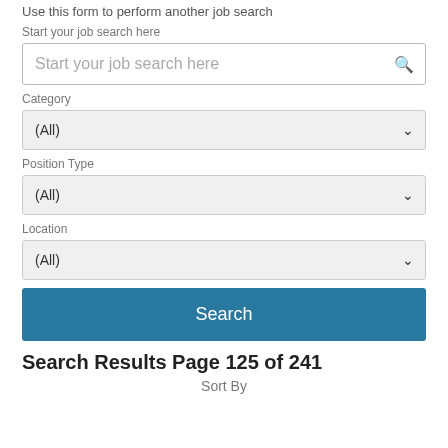Use this form to perform another job search
Start your job search here
[Figure (screenshot): Search input box with placeholder text 'Start your job search here' and a search icon on the right]
Category
[Figure (screenshot): Category dropdown selector showing '(All)']
Position Type
[Figure (screenshot): Position Type dropdown selector showing '(All)']
Location
[Figure (screenshot): Location dropdown selector showing '(All)']
[Figure (screenshot): Blue 'Search' button]
Search Results Page 125 of 241
Sort By